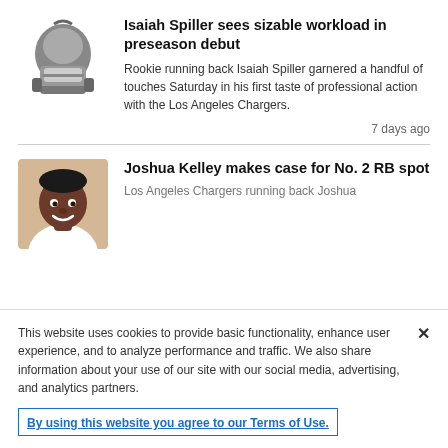[Figure (illustration): Football helmet illustration in gray tones]
Isaiah Spiller sees sizable workload in preseason debut
Rookie running back Isaiah Spiller garnered a handful of touches Saturday in his first taste of professional action with the Los Angeles Chargers.
7 days ago
[Figure (photo): Joshua Kelley headshot photo]
Joshua Kelley makes case for No. 2 RB spot
Los Angeles Chargers running back Joshua
This website uses cookies to provide basic functionality, enhance user experience, and to analyze performance and traffic. We also share information about your use of our site with our social media, advertising, and analytics partners.
By using this website you agree to our Terms of Use.